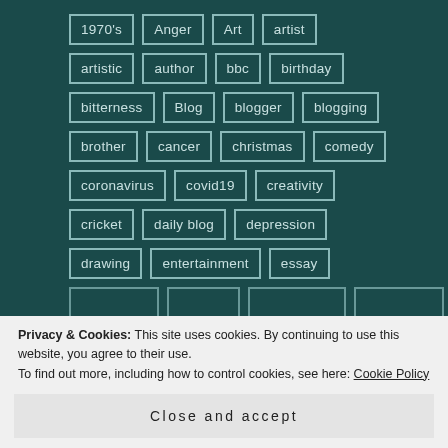[Figure (other): Tag cloud on dark teal background with bordered tag boxes arranged in rows: 1970's, Anger, Art, artist, artistic, author, bbc, birthday, bitterness, Blog, blogger, blogging, brother, cancer, christmas, comedy, coronavirus, covid19, creativity, cricket, daily blog, depression, drawing, entertainment, essay, (more tags partially visible), inspiration, journal, lack of support]
Privacy & Cookies: This site uses cookies. By continuing to use this website, you agree to their use.
To find out more, including how to control cookies, see here: Cookie Policy
Close and accept